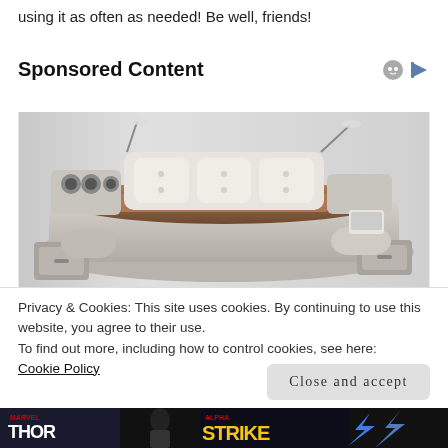using it as often as needed! Be well, friends!
Sponsored Content
[Figure (photo): A high-tech smart bed with built-in speakers, reading lights, storage drawers, massage chairs on sides, and a laptop stand.]
Privacy & Cookies: This site uses cookies. By continuing to use this website, you agree to their use.
To find out more, including how to control cookies, see here:
Cookie Policy
Close and accept
[Figure (photo): Bottom strip showing Marvel movie promotional banners including Thor and Strike.]